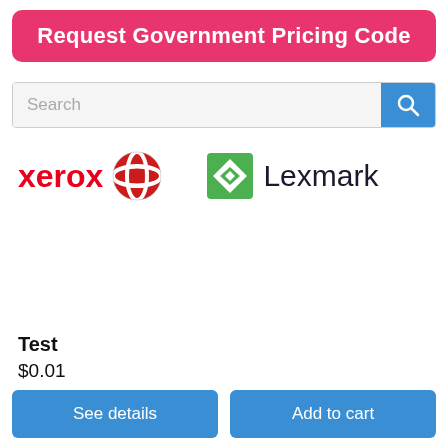Request Government Pricing Code
[Figure (screenshot): Search bar with magnifying glass icon button on blue background]
[Figure (logo): Xerox logo with red globe icon and red Xerox text]
[Figure (logo): Lexmark logo with green diamond icon and Lexmark text]
Test
$0.01
See details
Add to cart